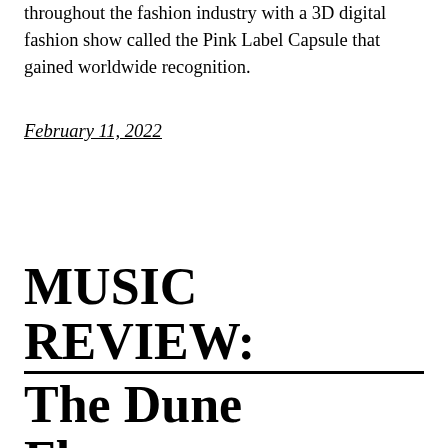throughout the fashion industry with a 3D digital fashion show called the Pink Label Capsule that gained worldwide recognition.
February 11, 2022
MUSIC REVIEW: The Dune Flowers – Tired of Doin...